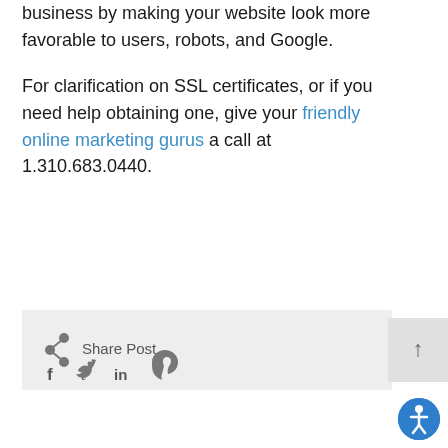business by making your website look more favorable to users, robots, and Google.

For clarification on SSL certificates, or if you need help obtaining one, give your friendly online marketing gurus a call at 1.310.683.0440.
[Figure (other): Share Post widget with social media icons (Facebook, Twitter, LinkedIn, Pinterest) on a light grey background, and a back-to-top arrow button]